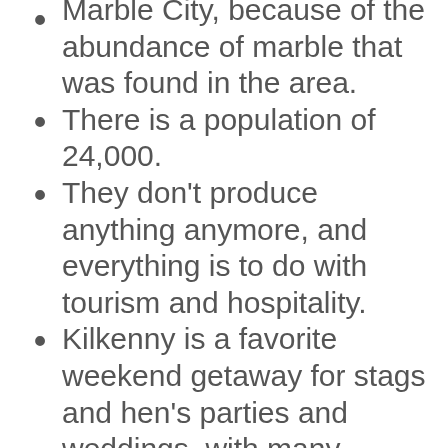Marble City, because of the abundance of marble that was found in the area.
There is a population of 24,000.
They don't produce anything anymore, and everything is to do with tourism and hospitality.
Kilkenny is a favorite weekend getaway for stags and hen's parties and weddings, with many people coming from Dublin to celebrate.
Kilkenny is a wealthy city, and the town council of Kilkenny keeps the town beautiful, with the flowers, and colourful buildings in perfect condition.
The townsfolk are rightfully proud of how lovely Kilkenny is, and they